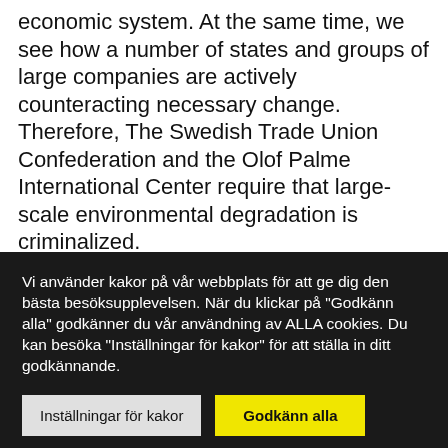economic system. At the same time, we see how a number of states and groups of large companies are actively counteracting necessary change. Therefore, The Swedish Trade Union Confederation and the Olof Palme International Center require that large-scale environmental degradation is criminalized.
We see more and more how some states and large corporations invest huge sums of money in disinformation campaigns, pushing for increased overexploitation of man and nature. Fossil fuel
Vi använder kakor på vår webbplats för att ge dig den bästa besöksupplevelsen. När du klickar på "Godkänn alla" godkänner du vår användning av ALLA cookies. Du kan besöka "Inställningar för kakor" för att ställa in ditt godkännande.